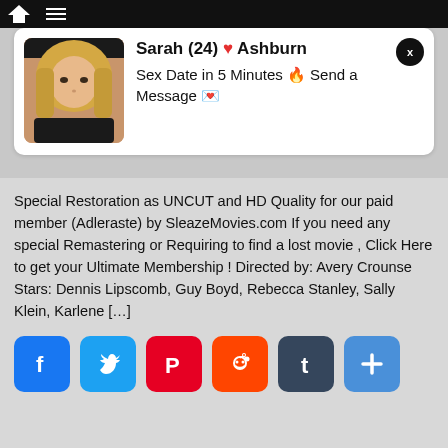[Figure (screenshot): Advertisement card showing a woman's photo with text 'Sarah (24) ❤ Ashburn — Sex Date in 5 Minutes 🔥 Send a Message 💌']
Special Restoration as UNCUT and HD Quality for our paid member (Adleraste) by SleazeMovies.com If you need any special Remastering or Requiring to find a lost movie , Click Here to get your Ultimate Membership ! Directed by: Avery Crounse Stars: Dennis Lipscomb, Guy Boyd, Rebecca Stanley, Sally Klein, Karlene […]
[Figure (infographic): Social share buttons row: Facebook (blue), Twitter (light blue), Pinterest (red), Reddit (orange-red), Tumblr (dark blue-grey), More/Plus (blue)]